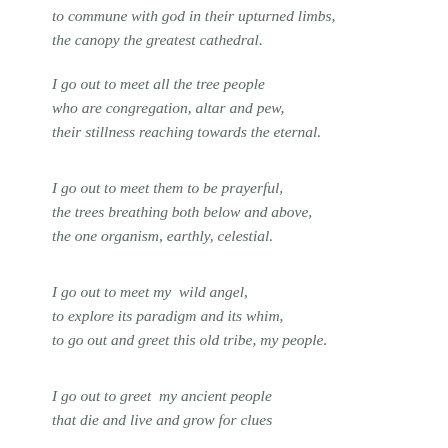to commune with god in their upturned limbs,
the canopy the greatest cathedral.
I go out to meet all the tree people
who are congregation, altar and pew,
their stillness reaching towards the eternal.
I go out to meet them to be prayerful,
the trees breathing both below and above,
the one organism, earthly, celestial.
I go out to meet my  wild angel,
to explore its paradigm and its whim,
to go out and greet this old tribe, my people.
I go out to greet  my ancient people
that die and live and grow for clues